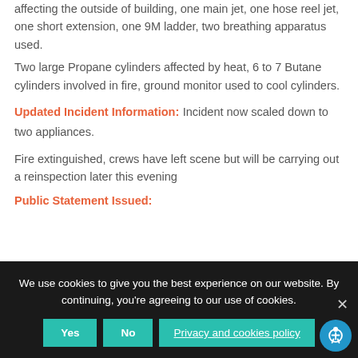affecting the outside of building, one main jet, one hose reel jet, one short extension, one 9M ladder, two breathing apparatus used.
Two large Propane cylinders affected by heat, 6 to 7 Butane cylinders involved in fire, ground monitor used to cool cylinders.
Updated Incident Information: Incident now scaled down to two appliances.
Fire extinguished, crews have left scene but will be carrying out a reinspection later this evening
Public Statement Issued:
We use cookies to give you the best experience on our website. By continuing, you're agreeing to our use of cookies.